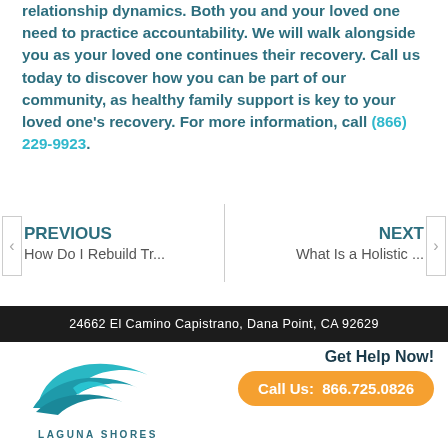relationship dynamics. Both you and your loved one need to practice accountability. We will walk alongside you as your loved one continues their recovery. Call us today to discover how you can be part of our community, as healthy family support is key to your loved one's recovery. For more information, call (866) 229-9923.
PREVIOUS
How Do I Rebuild Tr...
NEXT
What Is a Holistic ...
24662 El Camino Capistrano, Dana Point, CA 92629
[Figure (logo): Laguna Shores wave logo in teal]
Get Help Now!
Call Us: 866.725.0826